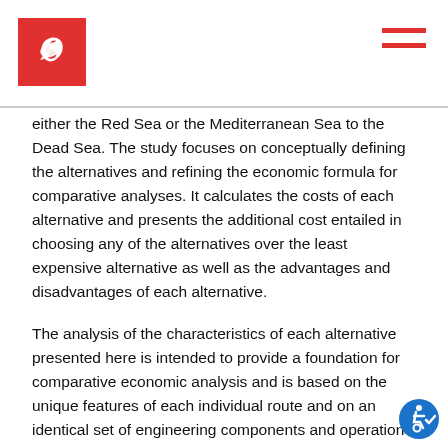Header with logo and navigation menu icon
either the Red Sea or the Mediterranean Sea to the Dead Sea. The study focuses on conceptually defining the alternatives and refining the economic formula for comparative analyses. It calculates the costs of each alternative and presents the additional cost entailed in choosing any of the alternatives over the least expensive alternative as well as the advantages and disadvantages of each alternative.
The analysis of the characteristics of each alternative presented here is intended to provide a foundation for comparative economic analysis and is based on the unique features of each individual route and on an identical set of engineering components and operation whose costs are estimated using standardized assumed values for similar components in Israel. For each of the alternative routes that appear in this document two basic conveyance options are examined.